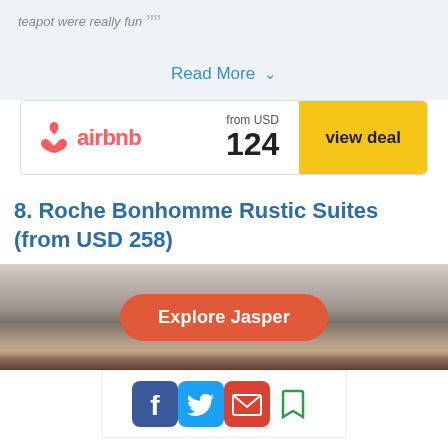teapot were really fun ""
Read More ∨
[Figure (logo): Airbnb deal card with logo, price from USD 124, and yellow 'view deal' button]
8. Roche Bonhomme Rustic Suites (from USD 258)
[Figure (photo): Blurred/bokeh outdoor scene background with orange-red 'Explore Jasper' button overlay]
[Figure (infographic): Social sharing icons bar: Facebook, Twitter, Email/envelope, Bookmark]